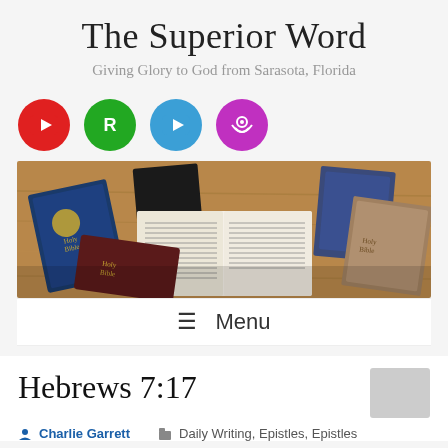The Superior Word
Giving Glory to God from Sarasota, Florida
[Figure (other): Four social media icon circles: YouTube (red), Rumble (green with R), YouTube/video (blue), Podcast (purple with wifi/speaker icon)]
[Figure (photo): Photo of multiple Bibles spread open on a wooden surface, including a blue Holy Bible, dark leather Bible, open Bible with pages visible, and aged Bibles]
☰  Menu
Hebrews 7:17
Charlie Garrett   Daily Writing, Epistles, Epistles